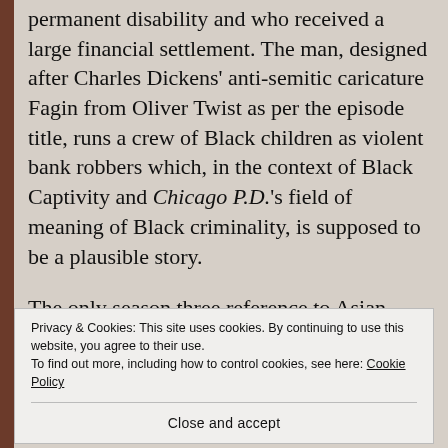permanent disability and who received a large financial settlement. The man, designed after Charles Dickens' anti-semitic caricature Fagin from Oliver Twist as per the episode title, runs a crew of Black children as violent bank robbers which, in the context of Black Captivity and Chicago P.D.'s field of meaning of Black criminality, is supposed to be a plausible story.
The only season three reference to Asian people has them as drug smugglers akin to Triads the same as earlier seasons.
Privacy & Cookies: This site uses cookies. By continuing to use this website, you agree to their use.
To find out more, including how to control cookies, see here: Cookie Policy
Close and accept
calling Big Herm or Big Villain, but she becomes an